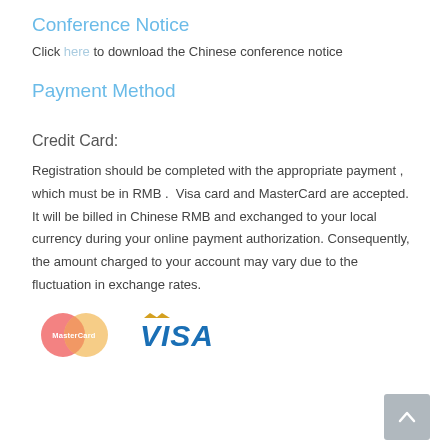Conference Notice
Click here to download the Chinese conference notice
Payment Method
Credit Card:
Registration should be completed with the appropriate payment , which must be in RMB .  Visa card and MasterCard are accepted. It will be billed in Chinese RMB and exchanged to your local currency during your online payment authorization. Consequently, the amount charged to your account may vary due to the fluctuation in exchange rates.
[Figure (logo): MasterCard and VISA payment logos side by side]